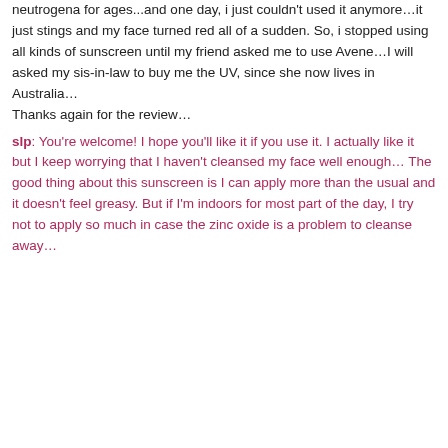neutrogena for ages...and one day, i just couldn't used it anymore…it just stings and my face turned red all of a sudden. So, i stopped using all kinds of sunscreen until my friend asked me to use Avene…I will asked my sis-in-law to buy me the UV, since she now lives in Australia…
Thanks again for the review…
slp: You're welcome! I hope you'll like it if you use it. I actually like it but I keep worrying that I haven't cleansed my face well enough… The good thing about this sunscreen is I can apply more than the usual and it doesn't feel greasy. But if I'm indoors for most part of the day, I try not to apply so much in case the zinc oxide is a problem to cleanse away…